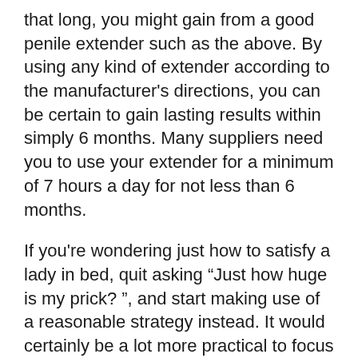that long, you might gain from a good penile extender such as the above. By using any kind of extender according to the manufacturer's directions, you can be certain to gain lasting results within simply 6 months. Many suppliers need you to use your extender for a minimum of 7 hours a day for not less than 6 months.
If you're wondering just how to satisfy a lady in bed, quit asking “Just how huge is my prick? ”, and start making use of a reasonable strategy instead. It would certainly be a lot more practical to focus on the dimension of your cocks and also just how you can boost its size. You can find out more on this at: